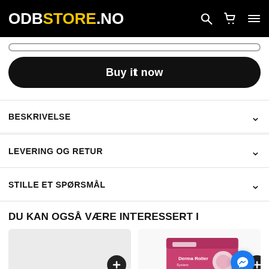ODBSTORE.NO
Buy it now
BESKRIVELSE
LEVERING OG RETUR
STILLE ET SPØRSMÅL
DU KAN OGSÅ VÆRE INTERESSERT I
[Figure (photo): Two product thumbnail images at bottom of page with a + button overlay and Messenger chat button]